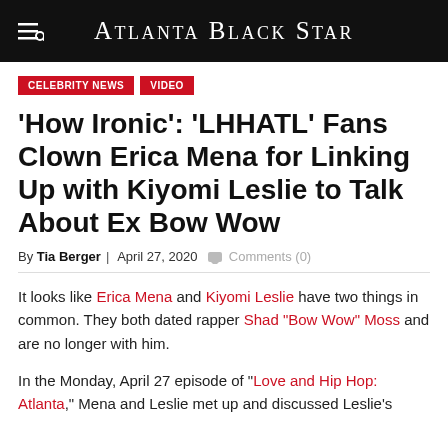Atlanta Black Star
CELEBRITY NEWS
VIDEO
'How Ironic': 'LHHATL' Fans Clown Erica Mena for Linking Up with Kiyomi Leslie to Talk About Ex Bow Wow
By Tia Berger | April 27, 2020  Comments (0)
It looks like Erica Mena and Kiyomi Leslie have two things in common. They both dated rapper Shad “Bow Wow” Moss and are no longer with him.
In the Monday, April 27 episode of “Love and Hip Hop: Atlanta,” Mena and Leslie met up and discussed Leslie’s